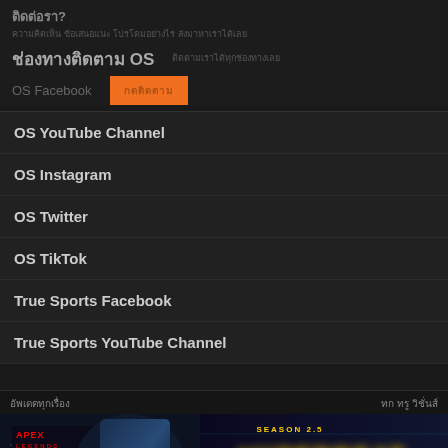ติดต่อรา?
Thai body text (redacted/unreadable characters)
ช่องทางติดตาม OS
OS Facebook
กดติดตาม (orange button)
OS YouTube Channel
OS Instagram
OS Twitter
OS TikTok
True Sports Facebook
True Sports YouTube Channel
อัพเดตทุกเรื่อง... ทรู วิชั่นส์
[Figure (illustration): Apex Legends Mobile Season 2.5 Hyperbeat promotional banner with character art and text '23 สิงหาคมนี้ ปล่อยปล่อยความมันซ์! ชิงกันทุกเวลาหวะ']